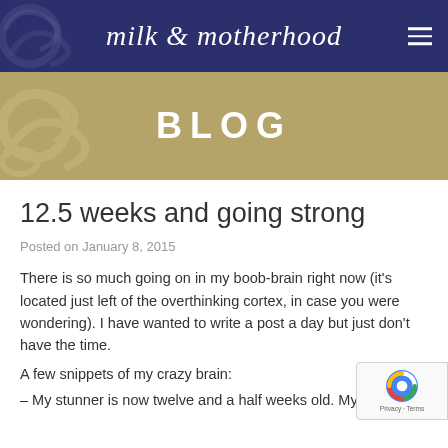milk & motherhood
BLOG
12.5 weeks and going strong
Posted on January 8, 2015
There is so much going on in my boob-brain right now (it's located just left of the overthinking cortex, in case you were wondering). I have wanted to write a post a day but just don't have the time.
A few snippets of my crazy brain:
– My stunner is now twelve and a half weeks old. My first boy